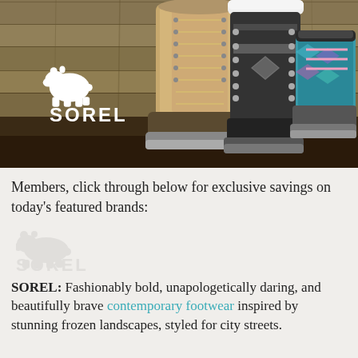[Figure (photo): Sorel brand hero banner showing three winter boots (tan lace-up tall boot, black/white patterned boot, teal/pink patterned short boot) displayed against a rustic wood plank background. White Sorel polar bear logo and SOREL wordmark in upper left corner.]
Members, click through below for exclusive savings on today's featured brands:
[Figure (logo): Sorel logo watermark (polar bear icon + SOREL wordmark) displayed large and very lightly in gray as a background watermark element.]
SOREL: Fashionably bold, unapologetically daring, and beautifully brave contemporary footwear inspired by stunning frozen landscapes, styled for city streets.